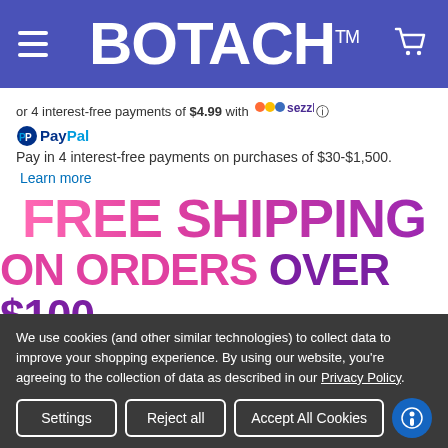BOTACH™
or 4 interest-free payments of $4.99 with Sezzle
PayPal Pay in 4 interest-free payments on purchases of $30-$1,500. Learn more
[Figure (infographic): FREE SHIPPING ON ORDERS OVER $100 banner with gradient pink to purple text]
COLOR: REQUIRED
Choose Options
We use cookies (and other similar technologies) to collect data to improve your shopping experience. By using our website, you're agreeing to the collection of data as described in our Privacy Policy.
Settings | Reject all | Accept All Cookies